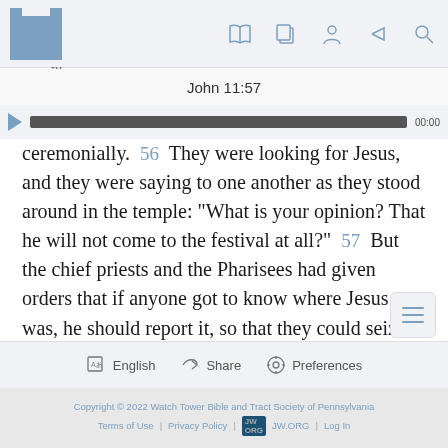[Figure (screenshot): JW.ORG app top navigation bar with logo and icons for book, copy, person, share, and search]
John 11:57
[Figure (other): Audio playback bar with play button, dark progress track, and 00:00 time label]
ceremonially. 56 They were looking for Jesus, and they were saying to one another as they stood around in the temple: “What is your opinion? That he will not come to the festival at all?” 57 But the chief priests and the Pharisees had given orders that if anyone got to know where Jesus was, he should report it, so that they could seize * him.
English | Share | Preferences | Copyright © 2022 Watch Tower Bible and Tract Society of Pennsylvania | Terms of Use | Privacy Policy | JW.ORG | Log In